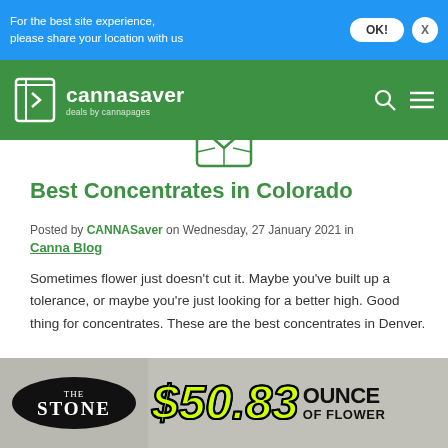For the best site experience, please share your location with us
[Figure (logo): Cannasaver logo — book icon with text 'cannasaver deals by cannapages' on green header with cannabis leaf background and search/menu icons]
[Figure (illustration): Envelope/email icon in green]
Best Concentrates in Colorado
Posted by CANNASaver on Wednesday, 27 January 2021 in
Canna Blog
Sometimes flower just doesn't cut it. Maybe you've built up a tolerance, or maybe you're just looking for a better high. Good thing for concentrates. These are the best concentrates in Denver.
[Figure (photo): Advertisement banner for The Stone dispensary showing $50.83 ounce of flower deal with yellow-green price text on grey background]